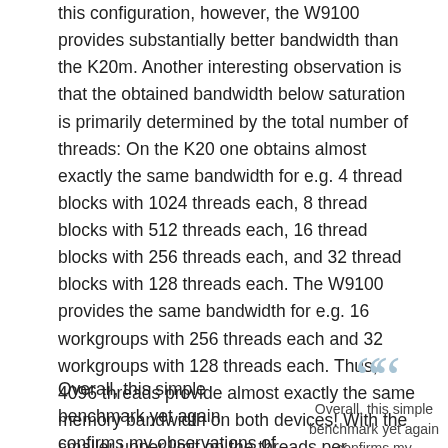this configuration, however, the W9100 provides substantially better bandwidth than the K20m. Another interesting observation is that the obtained bandwidth below saturation is primarily determined by the total number of threads: On the K20 one obtains almost exactly the same bandwidth for e.g. 4 thread blocks with 1024 threads each, 8 thread blocks with 512 threads each, 16 thread blocks with 256 threads each, and 32 thread blocks with 128 threads each. The W9100 provides the same bandwidth for e.g. 16 workgroups with 256 threads each and 32 workgroups with 128 threads each. Thus, 4096 threads provide almost exactly the same memory bandwidth on both devices! With the smaller upper limit on the threads per workgroup one is, however, a little less flexible on the W9100.
Overall, this simple benchmark yet again confirms my observations of AMD GPUs often providing the better peak performance than NVIDIA
Overall, this simple benchmark yet again confirms my observations of AMD GPUs often providing